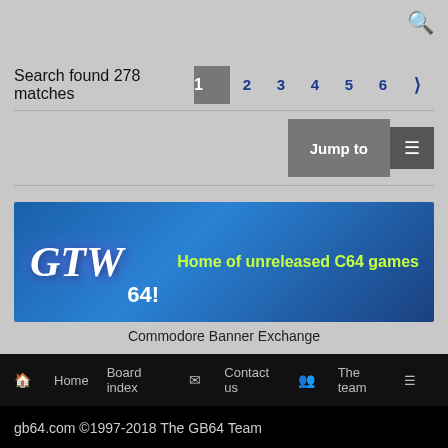🔍
Search found 278 matches
1 2 3 4 5 6 >
Jump to ☰
[Figure (illustration): GTW 64! banner - Home of unreleased C64 games, blue background with spaceship and character graphics]
Commodore Banner Exchange
🏠 Home   Board index   ✉ Contact us   👥 The team   ☰
gb64.com ©1997-2018 The GB64 Team